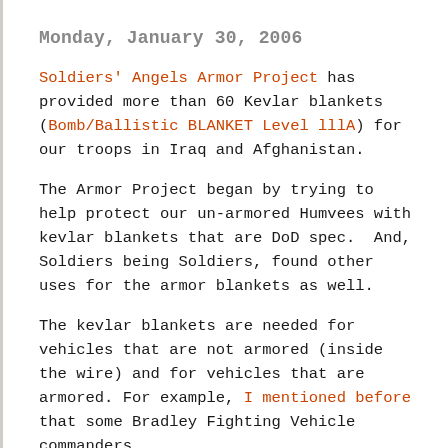Monday, January 30, 2006
Soldiers' Angels Armor Project has provided more than 60 Kevlar blankets (Bomb/Ballistic BLANKET Level lllA) for our troops in Iraq and Afghanistan.
The Armor Project began by trying to help protect our un-armored Humvees with kevlar blankets that are DoD spec.  And, Soldiers being Soldiers, found other uses for the armor blankets as well.
The kevlar blankets are needed for vehicles that are not armored (inside the wire) and for vehicles that are armored. For example, I mentioned before that some Bradley Fighting Vehicle commanders